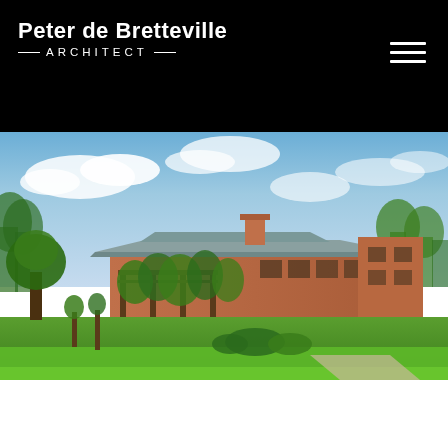Peter de Bretteville ARCHITECT
[Figure (photo): Exterior photograph of a low-rise residential building with terracotta/salmon-colored walls, a metal roof, and covered pergola with climbing vines, surrounded by lush green lawn, trees, and landscaped gardens under a partly cloudy blue sky.]